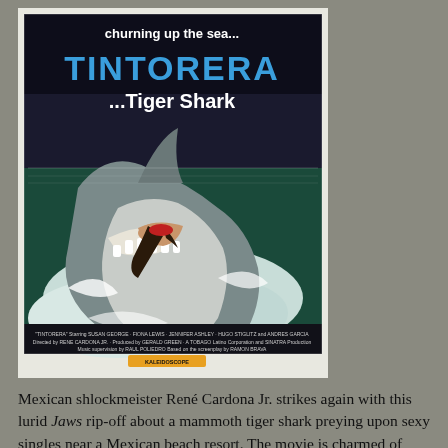[Figure (illustration): Movie poster for 'Tintorera...Tiger Shark'. The poster shows a large shark rising from churning sea water with a woman being tossed in its jaws. Bold blue text reads 'TINTORERA' and white text reads 'churning up the sea...' and '...Tiger Shark'. Small credits text appears at the bottom of the poster.]
Mexican shlockmeister René Cardona Jr. strikes again with this lurid Jaws rip-off about a mammoth tiger shark preying upon sexy singles near a Mexican beach resort. The movie is charmed of...